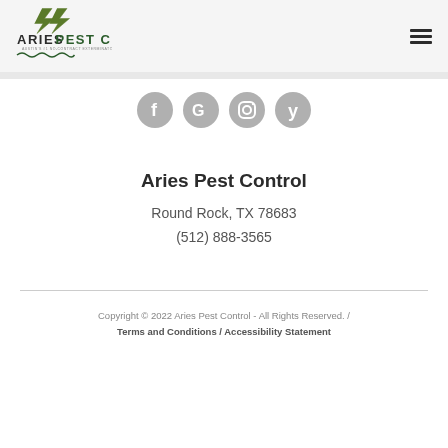Aries Pest Control — Austin's #1 No-Contract Exterminators
[Figure (logo): Aries Pest Control logo with lightning bolt graphic and tagline]
[Figure (infographic): Four social media icons: Facebook, Google, Instagram, Yelp]
Aries Pest Control
Round Rock, TX 78683
(512) 888-3565
Copyright © 2022 Aries Pest Control - All Rights Reserved. / Terms and Conditions / Accessibility Statement